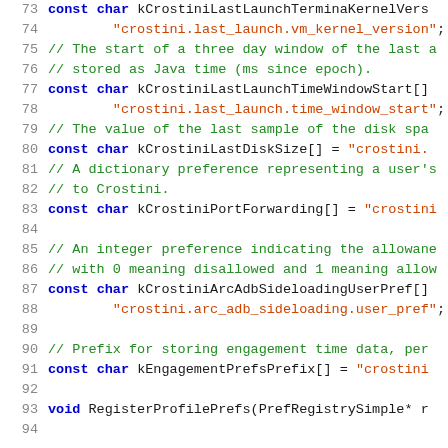[Figure (screenshot): Source code viewer showing C++ code lines 73-94 with line numbers on the left, keywords in blue bold, comments in green, string literals in dark orange/red, on a white background.]